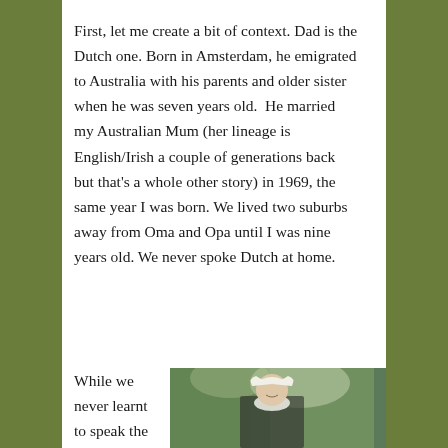First, let me create a bit of context. Dad is the Dutch one. Born in Amsterdam, he emigrated to Australia with his parents and older sister when he was seven years old. He married my Australian Mum (her lineage is English/Irish a couple of generations back but that's a whole other story) in 1969, the same year I was born. We lived two suburbs away from Oma and Opa until I was nine years old. We never spoke Dutch at home.
While we never learnt to speak the
[Figure (photo): A young girl wearing a traditional Dutch white cap and dark dress, smiling, standing outdoors with trees in the background. The photo appears vintage/old.]